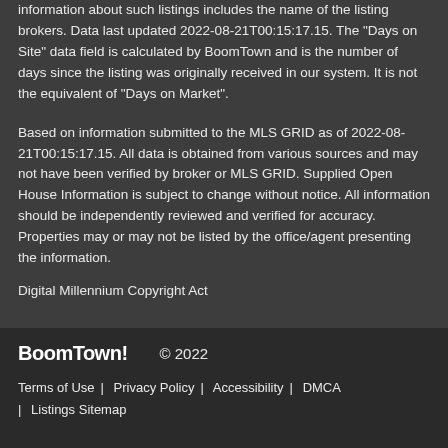information about such listings includes the name of the listing brokers. Data last updated 2022-08-21T00:15:17.15. The "Days on Site" data field is calculated by BoomTown and is the number of days since the listing was originally received in our system. It is not the equivalent of "Days on Market".
Based on information submitted to the MLS GRID as of 2022-08-21T00:15:17.15. All data is obtained from various sources and may not have been verified by broker or MLS GRID. Supplied Open House Information is subject to change without notice. All information should be independently reviewed and verified for accuracy. Properties may or may not be listed by the office/agent presenting the information.
Digital Millennium Copyright Act
BoomTown! © 2022 | Terms of Use | Privacy Policy | Accessibility | DMCA | Listings Sitemap